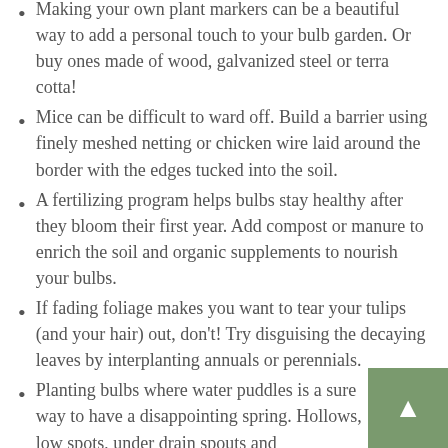Making your own plant markers can be a beautiful way to add a personal touch to your bulb garden. Or buy ones made of wood, galvanized steel or terra cotta!
Mice can be difficult to ward off. Build a barrier using finely meshed netting or chicken wire laid around the border with the edges tucked into the soil.
A fertilizing program helps bulbs stay healthy after they bloom their first year. Add compost or manure to enrich the soil and organic supplements to nourish your bulbs.
If fading foliage makes you want to tear your tulips (and your hair) out, don't! Try disguising the decaying leaves by interplanting annuals or perennials.
Planting bulbs where water puddles is a sure way to have a disappointing spring. Hollows, low spots, under drain spouts and